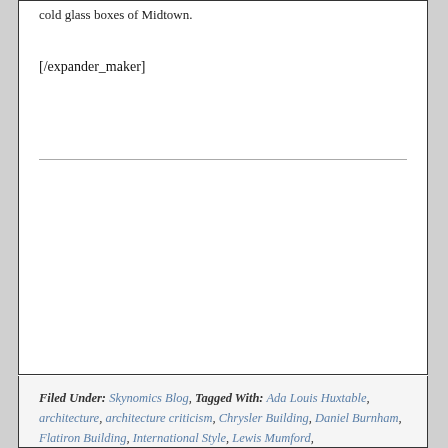cold glass boxes of Midtown.
[/expander_maker]
Filed Under: Skynomics Blog, Tagged With: Ada Louis Huxtable, architecture, architecture criticism, Chrysler Building, Daniel Burnham, Flatiron Building, International Style, Lewis Mumford,